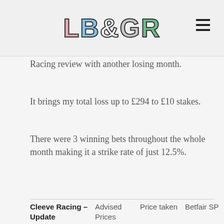LB&GR
Racing review with another losing month.
It brings my total loss up to £294 to £10 stakes.
There were 3 winning bets throughout the whole month making it a strike rate of just 12.5%.
| Cleeve Racing – Update | Advised Prices | Price taken | Betfair SP |
| --- | --- | --- | --- |